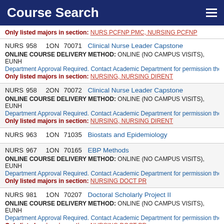Course Search
Only listed majors in section: NURS PCFNP PMC, NURSING PCFNP
NURS 958 1ON 70071 Clinical Nurse Leader Capstone
ONLINE COURSE DELIVERY METHOD: ONLINE (NO CAMPUS VISITS), EUNH
Department Approval Required. Contact Academic Department for permission then r
Only listed majors in section: NURSING, NURSING DIRENT
NURS 958 2ON 70072 Clinical Nurse Leader Capstone
ONLINE COURSE DELIVERY METHOD: ONLINE (NO CAMPUS VISITS), EUNH
Department Approval Required. Contact Academic Department for permission then r
Only listed majors in section: NURSING, NURSING DIRENT
NURS 963 1ON 71035 Biostats and Epidemiology
NURS 967 1ON 70165 EBP Methods
ONLINE COURSE DELIVERY METHOD: ONLINE (NO CAMPUS VISITS), EUNH
Department Approval Required. Contact Academic Department for permission then d
Only listed majors in section: NURSING DOCT PR
NURS 981 1ON 70207 Doctoral Scholarly Project II
ONLINE COURSE DELIVERY METHOD: ONLINE (NO CAMPUS VISITS), EUNH
Department Approval Required. Contact Academic Department for permission then r
Only listed majors in section: NURSING DOCT PR